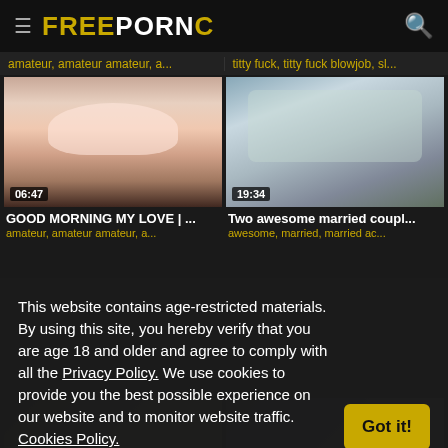FREE PORN C
amateur, amateur amateur, a...
titty fuck, titty fuck blowjob, sl...
[Figure (screenshot): Video thumbnail showing close-up, duration 06:47]
[Figure (screenshot): Video thumbnail showing outdoor scene, duration 19:34]
GOOD MORNING MY LOVE | ...
Two awesome married coupl...
amateur, amateur amateur, a...
awesome, married, married ac...
This website contains age-restricted materials. By using this site, you hereby verify that you are age 18 and older and agree to comply with all the Privacy Policy. We use cookies to provide you the best possible experience on our website and to monitor website traffic. Cookies Policy.
[Figure (screenshot): Partial video thumbnail bottom left]
[Figure (screenshot): Partial video thumbnail bottom right]